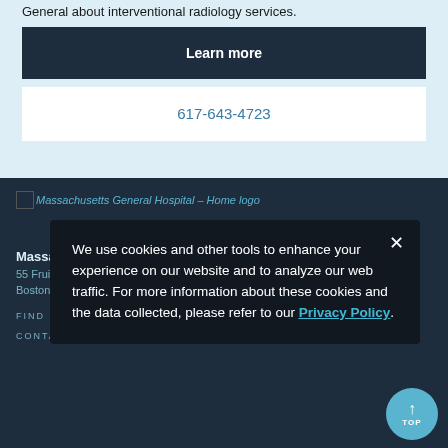General about interventional radiology services.
Learn more
617-643-4723
[Figure (logo): Massachusetts General Hospital – Home logo (broken image)]
Massachusetts General Hospital
55 Fruit Street
Boston, MA 02114
FIND
CONTACT US ›
We use cookies and other tools to enhance your experience on our website and to analyze our web traffic. For more information about these cookies and the data collected, please refer to our Privacy Policy.